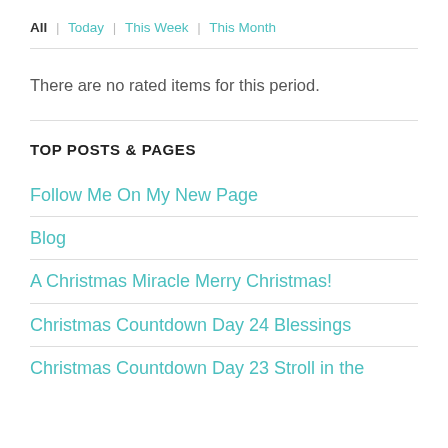All | Today | This Week | This Month
There are no rated items for this period.
TOP POSTS & PAGES
Follow Me On My New Page
Blog
A Christmas Miracle Merry Christmas!
Christmas Countdown Day 24 Blessings
Christmas Countdown Day 23 Stroll in the